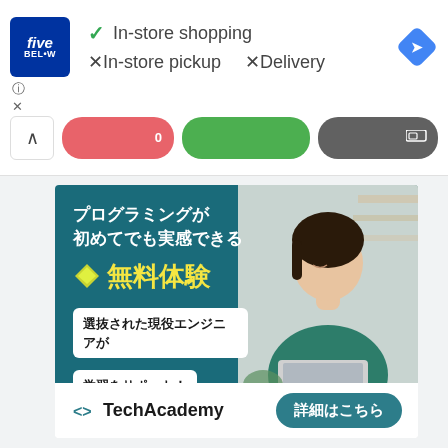[Figure (screenshot): Google Maps / browser UI showing Five Below store info panel with In-store shopping (checkmark), In-store pickup (X), Delivery (X), a navigation diamond icon, tab bar with red/green/gray pills, and a TechAcademy advertisement banner in Japanese promoting free programming trial with a person at laptop]